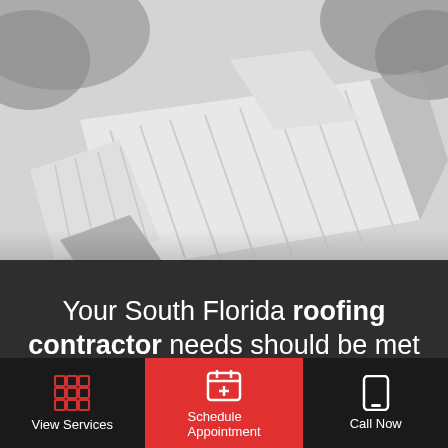[Figure (photo): Aerial/overhead view of a South Florida residential rooftop, grayscale/desaturated tones, showing metal roofing panels and surrounding trees]
Your South Florida roofing contractor needs should be met by the best!
View Services
Schedule Appointment
Call Now